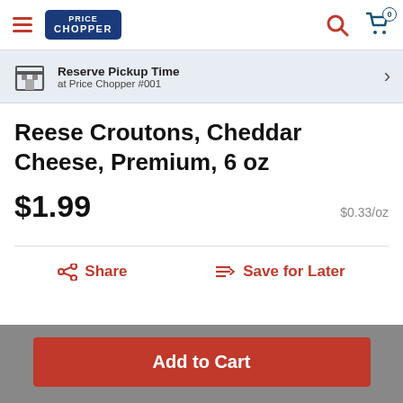Price Chopper
Reserve Pickup Time at Price Chopper #001
Reese Croutons, Cheddar Cheese, Premium, 6 oz
$1.99
$0.33/oz
Share
Save for Later
Add to Cart